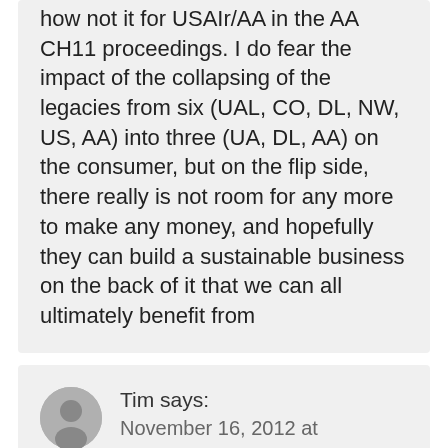how not it for USAIr/AA in the AA CH11 proceedings. I do fear the impact of the collapsing of the legacies from six (UAL, CO, DL, NW, US, AA) into three (UA, DL, AA) on the consumer, but on the flip side, there really is not room for any more to make any money, and hopefully they can build a sustainable business on the back of it that we can all ultimately benefit from
Tim says: November 16, 2012 at 8:01 pm
If I ran PHL, I'd be worried.